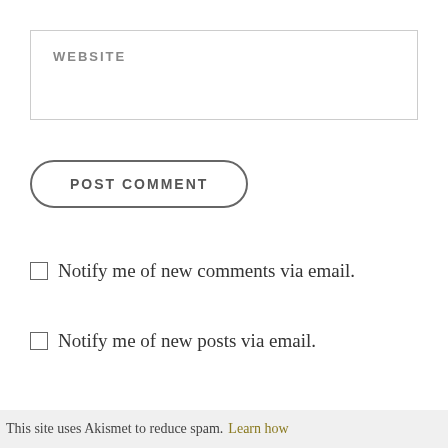WEBSITE
[Figure (other): POST COMMENT button with rounded pill-shaped border]
Notify me of new comments via email.
Notify me of new posts via email.
This site uses Akismet to reduce spam. Learn how